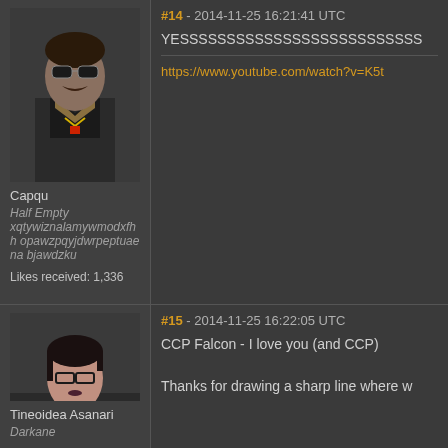[Figure (photo): Avatar of user Capqu - a rendered 3D character with sunglasses and a mustache in military-style clothing]
Capqu
Half Empty
xqtywiznalamywmodxfhh opawzpqyjdwrpeptuaena bjawdzku
Likes received: 1,336
#14 - 2014-11-25 16:21:41 UTC
YESSSSSSSSSSSSSSSSSSSSSSSSSS
https://www.youtube.com/watch?v=K5t
[Figure (photo): Avatar of user Tineoidea Asanari - a rendered 3D female character with glasses and dark hair]
Tineoidea Asanari
Darkane
#15 - 2014-11-25 16:22:05 UTC
CCP Falcon - I love you (and CCP)
Thanks for drawing a sharp line where w